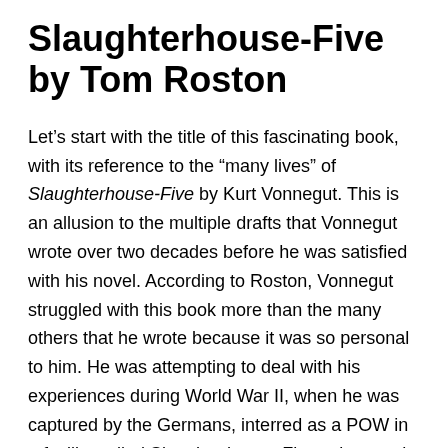Slaughterhouse-Five by Tom Roston
Let's start with the title of this fascinating book, with its reference to the "many lives" of Slaughterhouse-Five by Kurt Vonnegut. This is an allusion to the multiple drafts that Vonnegut wrote over two decades before he was satisfied with his novel. According to Roston, Vonnegut struggled with this book more than the many others that he wrote because it was so personal to him. He was attempting to deal with his experiences during World War II, when he was captured by the Germans, interred as a POW in a facility called Slaughterhouse-Five, witnessed the horrendous Allied firebombing of the city of Dresden, and afterwards was forced to help clean up the many